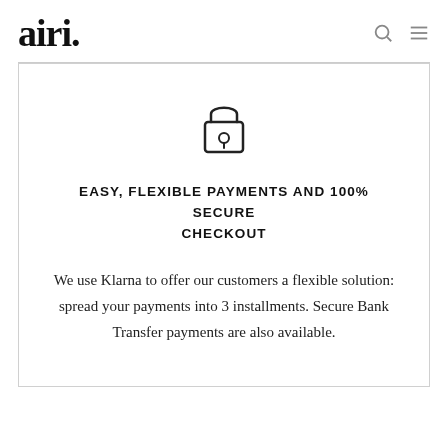airi.
[Figure (illustration): A padlock icon with a keyhole, rendered as an outline SVG icon in dark gray/black.]
EASY, FLEXIBLE PAYMENTS AND 100% SECURE CHECKOUT
We use Klarna to offer our customers a flexible solution: spread your payments into 3 installments. Secure Bank Transfer payments are also available.